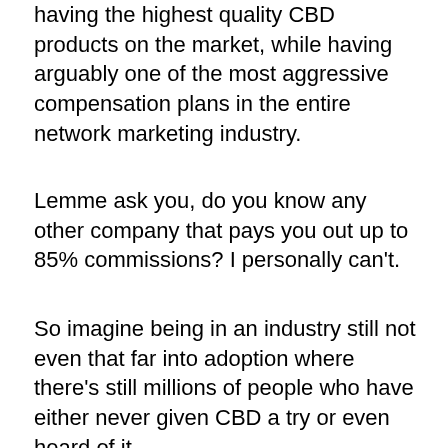having the highest quality CBD products on the market, while having arguably one of the most aggressive compensation plans in the entire network marketing industry.
Lemme ask you, do you know any other company that pays you out up to 85% commissions? I personally can't.
So imagine being in an industry still not even that far into adoption where there's still millions of people who have either never given CBD a try or even heard of it.